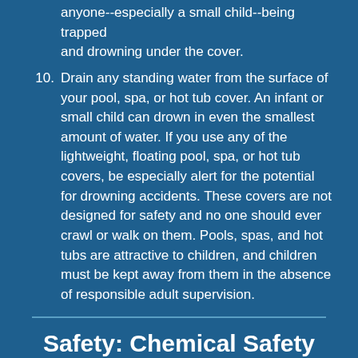anyone--especially a small child--being trapped and drowning under the cover.
10. Drain any standing water from the surface of your pool, spa, or hot tub cover. An infant or small child can drown in even the smallest amount of water. If you use any of the lightweight, floating pool, spa, or hot tub covers, be especially alert for the potential for drowning accidents. These covers are not designed for safety and no one should ever crawl or walk on them. Pools, spas, and hot tubs are attractive to children, and children must be kept away from them in the absence of responsible adult supervision.
Safety: Chemical Safety
Chemical Transportation:
Keep your vehicle's windows open when...